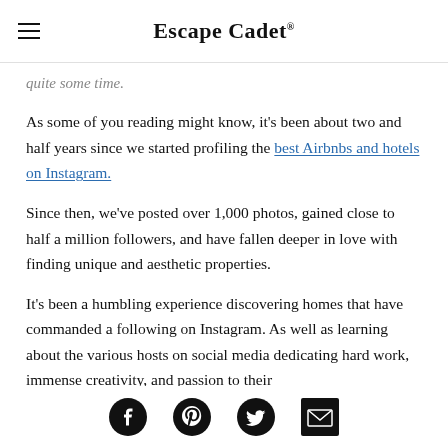Escape Cadet
quite some time.
As some of you reading might know, it’s been about two and half years since we started profiling the best Airbnbs and hotels on Instagram.
Since then, we’ve posted over 1,000 photos, gained close to half a million followers, and have fallen deeper in love with finding unique and aesthetic properties.
It’s been a humbling experience discovering homes that have commanded a following on Instagram. As well as learning about the various hosts on social media dedicating hard work, immense creativity, and passion to their
Social share icons: Facebook, Pinterest, Twitter, Email